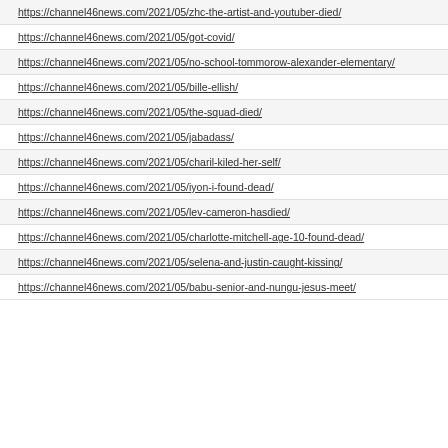https://channel46news.com/2021/05/zhc-the-artist-and-youtuber-died/
https://channel46news.com/2021/05/got-covid/
https://channel46news.com/2021/05/no-school-tommorow-alexander-elementary/
https://channel46news.com/2021/05/bille-ellish/
https://channel46news.com/2021/05/the-squad-died/
https://channel46news.com/2021/05/jabadass/
https://channel46news.com/2021/05/charil-kiled-her-self/
https://channel46news.com/2021/05/iyon-i-found-dead/
https://channel46news.com/2021/05/lev-cameron-hasdied/
https://channel46news.com/2021/05/charlotte-mitchell-age-10-found-dead/
https://channel46news.com/2021/05/selena-and-justin-caught-kissing/
https://channel46news.com/2021/05/babu-senior-and-nungu-jesus-meet/